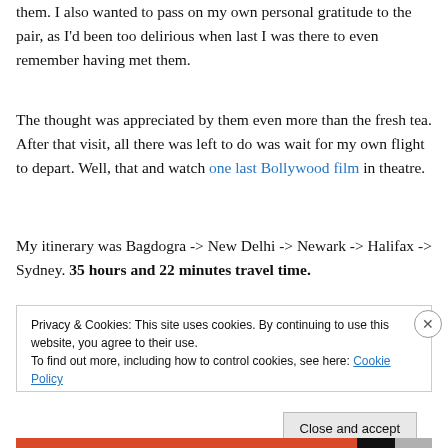them. I also wanted to pass on my own personal gratitude to the pair, as I'd been too delirious when last I was there to even remember having met them.
The thought was appreciated by them even more than the fresh tea. After that visit, all there was left to do was wait for my own flight to depart. Well, that and watch one last Bollywood film in theatre.
My itinerary was Bagdogra -> New Delhi -> Newark -> Halifax -> Sydney. 35 hours and 22 minutes travel time.
Privacy & Cookies: This site uses cookies. By continuing to use this website, you agree to their use.
To find out more, including how to control cookies, see here: Cookie Policy
[Close and accept]